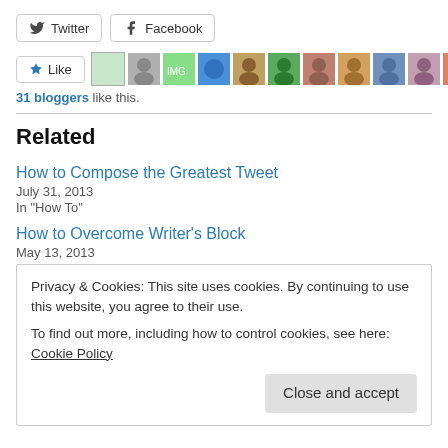[Figure (other): Twitter and Facebook share buttons]
[Figure (other): Like button with avatar strip showing 31 bloggers like this]
31 bloggers like this.
Related
How to Compose the Greatest Tweet
July 31, 2013
In "How To"
How to Overcome Writer’s Block
May 13, 2013
Privacy & Cookies: This site uses cookies. By continuing to use this website, you agree to their use.
To find out more, including how to control cookies, see here: Cookie Policy
Close and accept